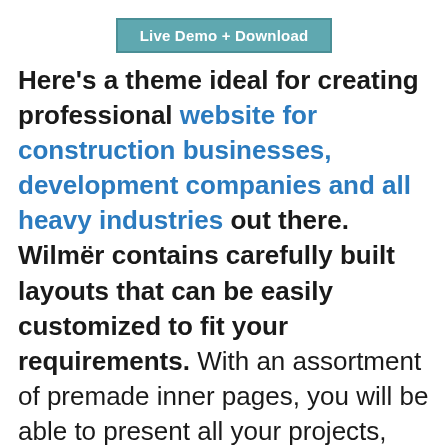[Figure (other): Button with teal background reading 'Live Demo + Download']
Here's a theme ideal for creating professional website for construction businesses, development companies and all heavy industries out there. Wilmër contains carefully built layouts that can be easily customized to fit your requirements. With an assortment of premade inner pages, you will be able to present all your projects, services, pricing plans, and other information